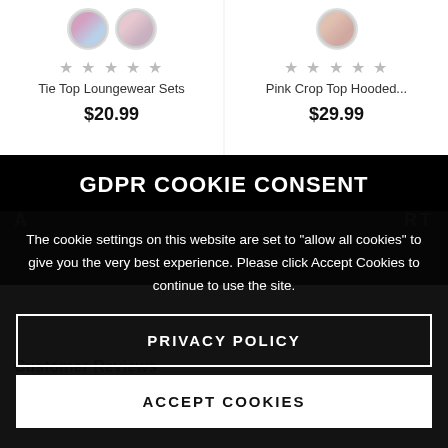[Figure (screenshot): Two product cards side by side. Left card: circular thumbnails of loungewear sets, 5 grey stars, 'Tie Top Loungewear Sets', price $20.99. Right card: circular thumbnail of pink hooded crop top, 5 grey stars, 'Pink Crop Top Hooded...', price $29.99.]
GDPR COOKIE CONSENT
The cookie settings on this website are set to “allow all cookies” to give you the very best experience. Please click Accept Cookies to continue to use the site.
PRIVACY POLICY
Customer Reviews
ACCEPT COOKIES